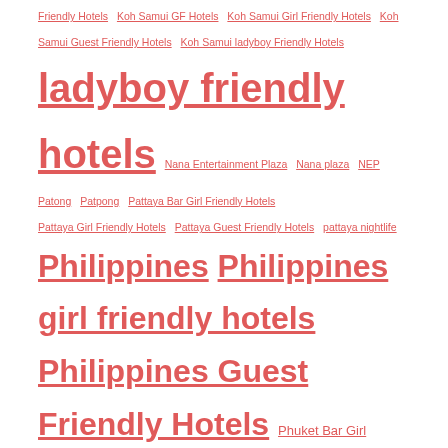Friendly Hotels  Koh Samui GF Hotels  Koh Samui Girl Friendly Hotels  Koh Samui Guest Friendly Hotels  Koh Samui ladyboy Friendly Hotels  ladyboy friendly hotels  Nana Entertainment Plaza  Nana plaza  NEP  Patong  Patpong  Pattaya Bar Girl Friendly Hotels  Pattaya Girl Friendly Hotels  Pattaya Guest Friendly Hotels  pattaya nightlife  Philippines  Philippines girl friendly hotels  Philippines Guest Friendly Hotels  Phuket Bar Girl Friendly Hotels  Phuket Girl Friendly Hotels  Phuket Guest Friendly Hotels  Phuket nightlife  Soi Cowboy  Soi Eric  Thailand  Thailand girl friendly hotels  Thailand Guest Friendly Hotels  Vietnam girl friendly hotels  Vietnam Guest Friendly Hotels  Walking street
LATEST CITIES ADDED
Kuala Lumpur Guest Friendly Hotels